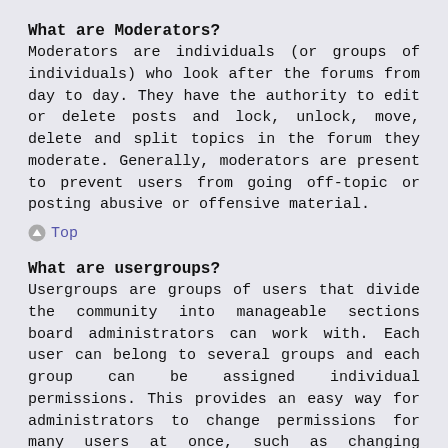What are Moderators?
Moderators are individuals (or groups of individuals) who look after the forums from day to day. They have the authority to edit or delete posts and lock, unlock, move, delete and split topics in the forum they moderate. Generally, moderators are present to prevent users from going off-topic or posting abusive or offensive material.
Top
What are usergroups?
Usergroups are groups of users that divide the community into manageable sections board administrators can work with. Each user can belong to several groups and each group can be assigned individual permissions. This provides an easy way for administrators to change permissions for many users at once, such as changing moderator permissions or granting users access to a private forum.
Top